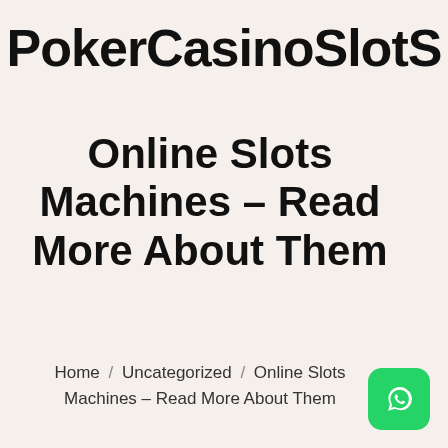PokerCasinoSlots
Online Slots Machines – Read More About Them
Home / Uncategorized / Online Slots Machines – Read More About Them
[Figure (logo): WhatsApp button icon, green rounded square with white WhatsApp phone logo]